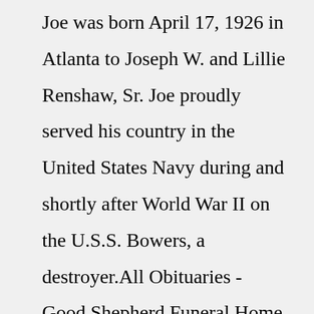Joe was born April 17, 1926 in Atlanta to Joseph W. and Lillie Renshaw, Sr. Joe proudly served his country in the United States Navy during and shortly after World War II on the U.S.S. Bowers, a destroyer.All Obituaries - Good Shepherd Funeral Home offers a variety of funeral services, from traditional funerals to competitively priced cremations, serving Raymondville, TX and the surrounding communities. ... Norma Linda Garcia, 46, entered into eternal rest